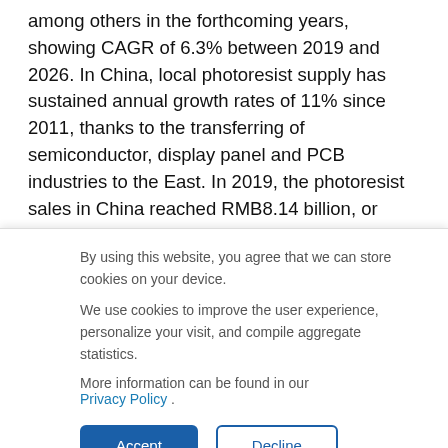among others in the forthcoming years, showing CAGR of 6.3% between 2019 and 2026. In China, local photoresist supply has sustained annual growth rates of 11% since 2011, thanks to the transferring of semiconductor, display panel and PCB industries to the East. In 2019, the photoresist sales in China reached RMB8.14 billion, or virtually 14% of the global total, leaving enormous room for
By using this website, you agree that we can store cookies on your device.
We use cookies to improve the user experience, personalize your visit, and compile aggregate statistics.
More information can be found in our Privacy Policy .